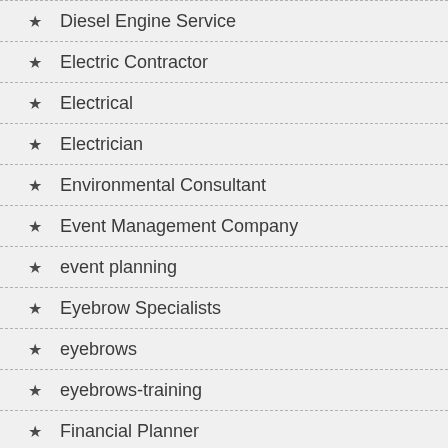Diesel Engine Service
Electric Contractor
Electrical
Electrician
Environmental Consultant
Event Management Company
event planning
Eyebrow Specialists
eyebrows
eyebrows-training
Financial Planner